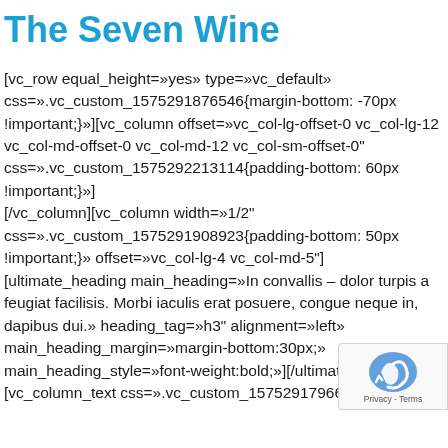The Seven Wine
[vc_row equal_height=»yes» type=»vc_default» css=».vc_custom_1575291876546{margin-bottom: -70px !important;}»][vc_column offset=»vc_col-lg-offset-0 vc_col-lg-12 vc_col-md-offset-0 vc_col-md-12 vc_col-sm-offset-0" css=».vc_custom_1575292213114{padding-bottom: 60px !important;}»]
[/vc_column][vc_column width=»1/2" css=».vc_custom_1575291908923{padding-bottom: 50px !important;}» offset=»vc_col-lg-4 vc_col-md-5"]
[ultimate_heading main_heading=»In convallis – dolor turpis a feugiat facilisis. Morbi iaculis erat posuere, congue neque in, dapibus dui.» heading_tag=»h3" alignment=»left» main_heading_margin=»margin-bottom:30px;» main_heading_style=»font-weight:bold;»][/ultimate_he…
[vc_column_text css=».vc_custom_1575291796665{margin-…